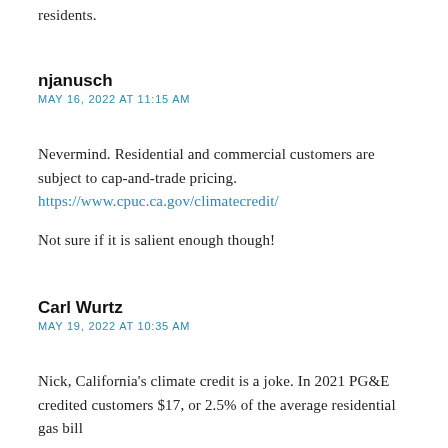residents.
njanusch
MAY 16, 2022 AT 11:15 AM
Nevermind. Residential and commercial customers are subject to cap-and-trade pricing.
https://www.cpuc.ca.gov/climatecredit/
Not sure if it is salient enough though!
Carl Wurtz
MAY 19, 2022 AT 10:35 AM
Nick, California's climate credit is a joke. In 2021 PG&E credited customers $17, or 2.5% of the average residential gas bill